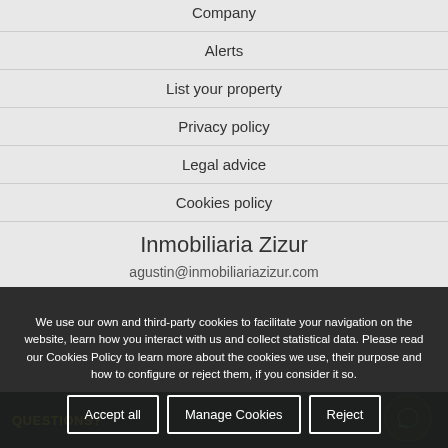Company
Alerts
List your property
Privacy policy
Legal advice
Cookies policy
Inmobiliaria Zizur
agustin@inmobiliariazizur.com
We use our own and third-party cookies to facilitate your navigation on the website, learn how you interact with us and collect statistical data. Please read our Cookies Policy to learn more about the cookies we use, their purpose and how to configure or reject them, if you consider it so.
Accept all | Manage Cookies | Reject